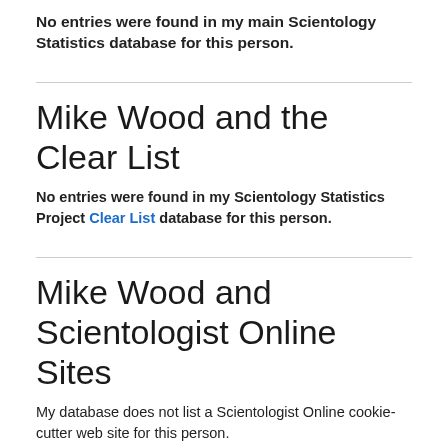No entries were found in my main Scientology Statistics database for this person.
Mike Wood and the Clear List
No entries were found in my Scientology Statistics Project Clear List database for this person.
Mike Wood and Scientologist Online Sites
My database does not list a Scientologist Online cookie-cutter web site for this person.
Mike Wood and WISE Directories
WISE, the World Institute of Scientology Enterprises, publishes